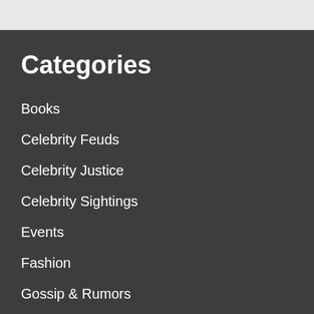Categories
Books
Celebrity Feuds
Celebrity Justice
Celebrity Sightings
Events
Fashion
Gossip & Rumors
Interviews
Lifestyle